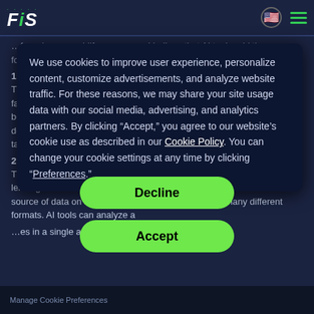FIS [navigation bar with logo, flag icon, and hamburger menu]
...focusing on real-life use cases, I believe that AI tools add the following six key attributes to lending processes and analytics.
1. Speed
Time is of the essence in commercial lending and AI works a great deal faster than any human can. Typically, you'll need to ingest a lot of data before you can onboard a borrower. While manual processes slow staff down and frustrate the customer experience, AI will race through routine tasks and win back time for more interesting, customer-facing work.
2. Scale
The more data you have on a borrower, the better you can inform your lending decisions. Bank statements, for example, can provide a rich source of data on small businesses but also come in many different formats. AI tools can analyze a
We use cookies to improve user experience, personalize content, customize advertisements, and analyze website traffic. For these reasons, we may share your site usage data with our social media, advertising, and analytics partners. By clicking “Accept,” you agree to our website’s cookie use as described in our Cookie Policy. You can change your cookie settings at any time by clicking “Preferences.”
Decline
Accept
Manage Cookie Preferences